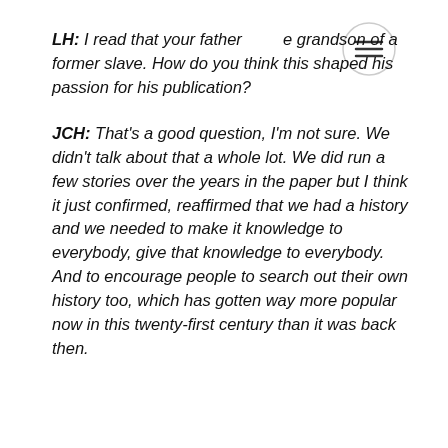LH: I read that your father [was the] grandson of a former slave. How do you think this shaped his passion for his publication?
JCH: That's a good question, I'm not sure. We didn't talk about that a whole lot. We did run a few stories over the years in the paper but I think it just confirmed, reaffirmed that we had a history and we needed to make it knowledge to everybody, give that knowledge to everybody. And to encourage people to search out their own history too, which has gotten way more popular now in this twenty-first century than it was back then.